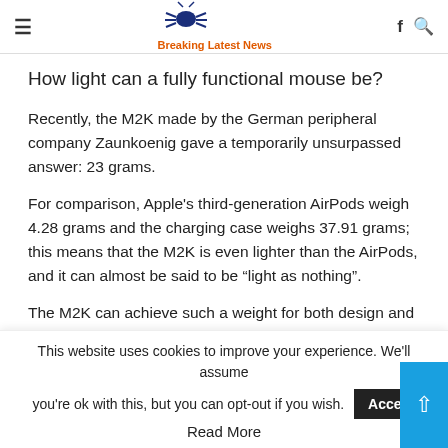Breaking Latest News
How light can a fully functional mouse be?
Recently, the M2K made by the German peripheral company Zaunkoenig gave a temporarily unsurpassed answer: 23 grams.
For comparison, Apple’s third-generation AirPods weigh 4.28 grams and the charging case weighs 37.91 grams; this means that the M2K is even lighter than the AirPods, and it can almost be said to be “light as nothing”.
The M2K can achieve such a weight for both design and
This website uses cookies to improve your experience. We'll assume you're ok with this, but you can opt-out if you wish.
Read More